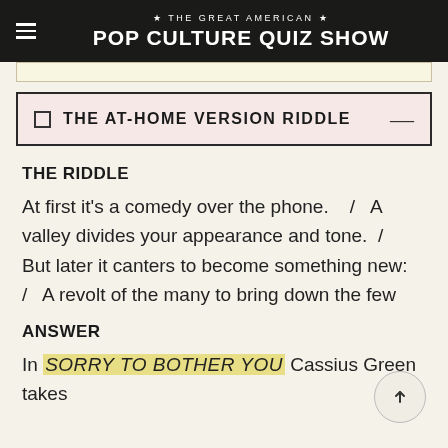★ THE GREAT AMERICAN ★ POP CULTURE QUIZ SHOW
THE AT-HOME VERSION RIDDLE
THE RIDDLE
At first it's a comedy over the phone.   /   A valley divides your appearance and tone.  /   But later it canters to become something new:   /   A revolt of the many to bring down the few
ANSWER
In SORRY TO BOTHER YOU Cassius Green takes